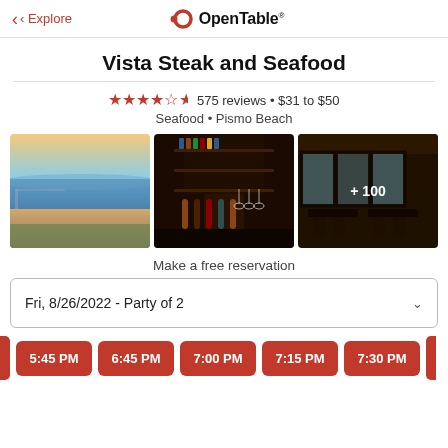< Explore   OpenTable
Vista Steak and Seafood
★★★★½  575 reviews • $31 to $50
Seafood • Pismo Beach
[Figure (photo): Three restaurant photos: beach view with pier at sunset, bar with taps and hanging wine glasses, and dining room with ocean view windows. '+100' overlay on third photo.]
Make a free reservation
Fri, 8/26/2022 - Party of 2
5:45 PM
6:45 PM
7:00 PM
7:15 PM
7:30 PM